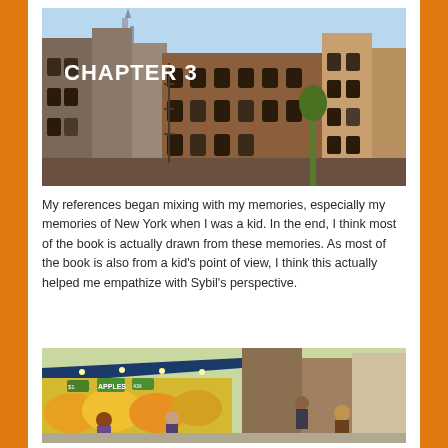[Figure (illustration): Illustrated cityscape showing New York-style brownstone buildings with the text 'CHAPTER 3' overlaid in white on the upper left portion of the image.]
My references began mixing with my memories, especially my memories of New York when I was a kid. In the end, I think most of the book is actually drawn from these memories. As most of the book is also from a kid's point of view, I think this actually helped me empathize with Sybil's perspective.
[Figure (illustration): Illustrated street market scene with colorful fruit and vegetable stalls, signs reading 'APPLES', people shopping, and urban buildings in the background.]